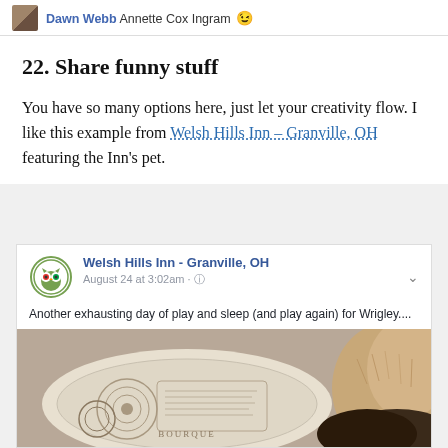Dawn Webb Annette Cox Ingram 😉
22. Share funny stuff
You have so many options here, just let your creativity flow. I like this example from Welsh Hills Inn – Granville, OH featuring the Inn's pet.
[Figure (screenshot): Facebook post from Welsh Hills Inn - Granville, OH dated August 24 at 3:02am, with text 'Another exhausting day of play and sleep (and play again) for Wrigley....' and a photo of a dog sleeping on decorative pillows.]